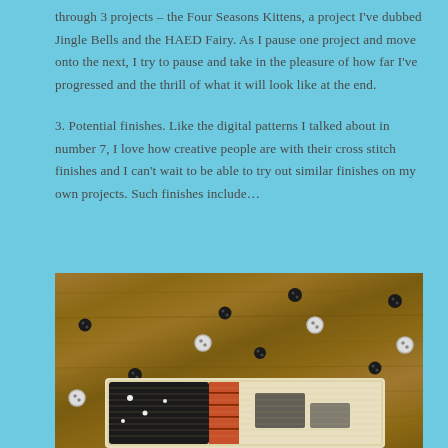through 3 projects – the Four Seasons Kittens, a project I've dubbed Jingle Bells and the HAED Fairy. As I pause one project and move onto the next, I try to pause and take in the pleasure of how far I've progressed and the thrill of what it will look like at the end.
3. Potential finishes. Like the digital patterns I talked about in number 7, I love how creative people are with their cross stitch finishes and I can't wait to be able to try out similar finishes on my own projects. Such finishes include…
[Figure (photo): A wooden surface scattered with black and white buttons, with a cross-stitch embroidery piece visible at the bottom featuring a black and cream colored design with decorative stitching]